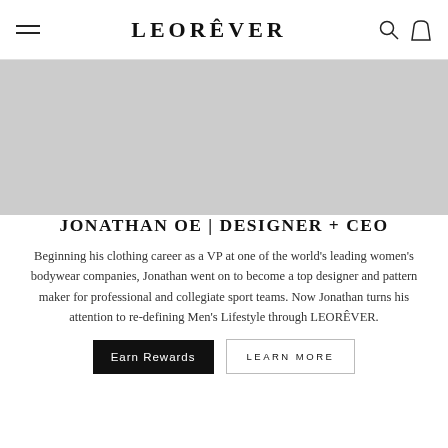LEORÊVER
[Figure (photo): Grey image/banner area below the navigation header]
JONATHAN OE | DESIGNER + CEO
Beginning his clothing career as a VP at one of the world's leading women's bodywear companies, Jonathan went on to become a top designer and pattern maker for professional and collegiate sport teams. Now Jonathan turns his attention to re-defining Men's Lifestyle through LEORÊVER.
Earn Rewards   LEARN MORE